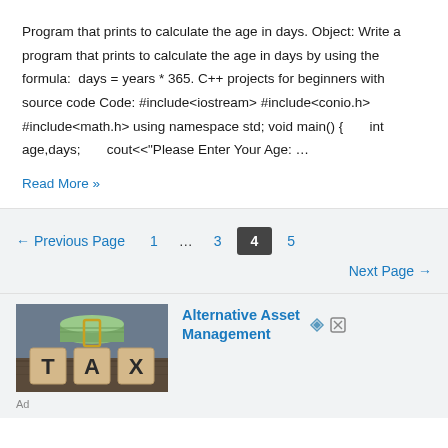Program that prints to calculate the age in days. Object: Write a program that prints to calculate the age in days by using the formula:  days = years * 365. C++ projects for beginners with source code Code: #include<iostream> #include<conio.h> #include<math.h> using namespace std; void main() {        int age,days;        cout<<"Please Enter Your Age: …
Read More »
← Previous Page    1    ...    3    4    5    Next Page →
[Figure (photo): Photo of wooden letter blocks spelling TAX with a rolled up dollar bill on top, placed on a wooden surface. Advertisement image for Alternative Asset Management.]
Alternative Asset Management
Ad